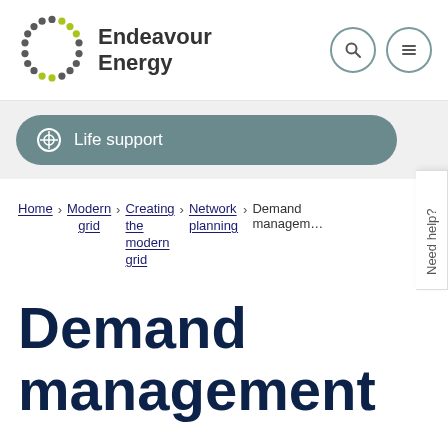[Figure (logo): Endeavour Energy logo with circular dot pattern in grey and lime green, and bold text 'Endeavour Energy']
Life support
Home › Modern grid › Creating the modern grid › Network planning › Demand management
Demand management